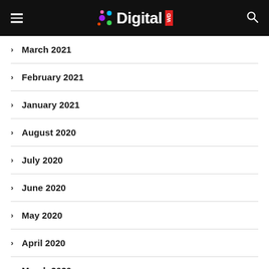Digital WD
March 2021
February 2021
January 2021
August 2020
July 2020
June 2020
May 2020
April 2020
March 2020